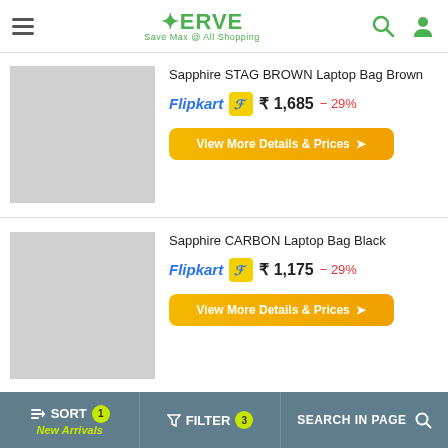XERVE — Save Max @ All Shopping
Sapphire STAG BROWN Laptop Bag Brown
Flipkart ₹ 1,685 - 29%
View More Details & Prices
Sapphire CARBON Laptop Bag Black
Flipkart ₹ 1,175 - 29%
View More Details & Prices
Sapphire REYNOLDS Laptop Bag Black
SORT New Arrivals | FILTER 3 | SEARCH IN PAGE